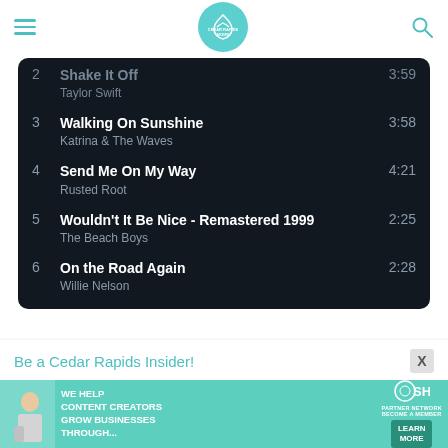Cedar Rapids Moms
[Figure (screenshot): Music playlist on dark background showing tracks: 2 Shake It Off - Taylor Swift 3:59, 3 Walking On Sunshine - Katrina & The Waves 3:58, 4 Send Me On My Way - Rusted Root 4:21, 5 Wouldn't It Be Nice - Remastered 1999 - The Beach Boys 2:25, 6 On the Road Again - Willie Nelson 2:28]
Be a Cedar Rapids Insider!
[Figure (infographic): SHE Media partner network advertisement banner: We help content creators grow businesses through... Learn More]